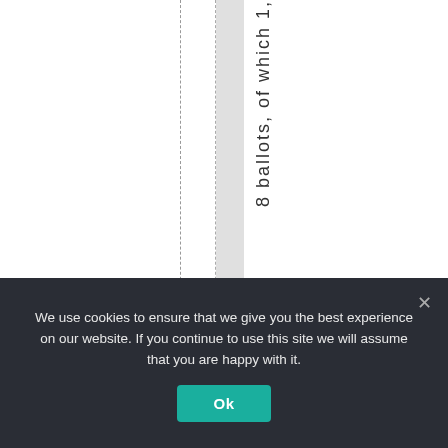8 ballots, of which 1,
We use cookies to ensure that we give you the best experience on our website. If you continue to use this site we will assume that you are happy with it.
Ok